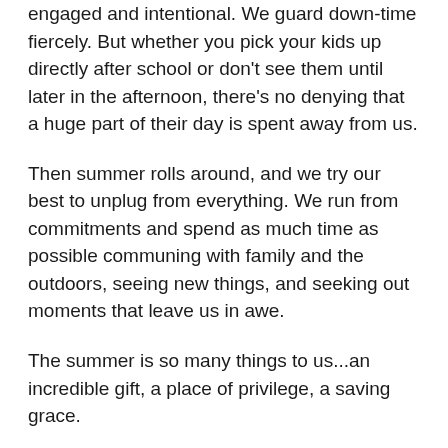engaged and intentional. We guard down-time fiercely. But whether you pick your kids up directly after school or don't see them until later in the afternoon, there's no denying that a huge part of their day is spent away from us.
Then summer rolls around, and we try our best to unplug from everything. We run from commitments and spend as much time as possible communing with family and the outdoors, seeing new things, and seeking out moments that leave us in awe.
The summer is so many things to us...an incredible gift, a place of privilege, a saving grace.
However, the shift from school to summer is no small transition for any of us. The structure and daily